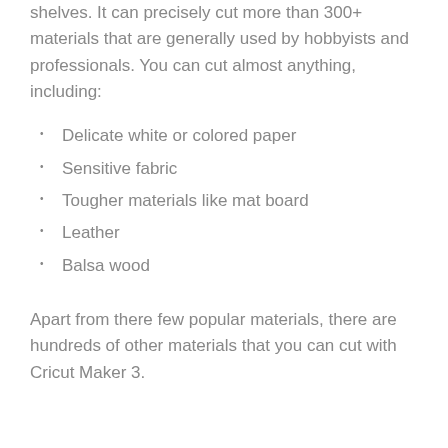shelves. It can precisely cut more than 300+ materials that are generally used by hobbyists and professionals. You can cut almost anything, including:
Delicate white or colored paper
Sensitive fabric
Tougher materials like mat board
Leather
Balsa wood
Apart from there few popular materials, there are hundreds of other materials that you can cut with Cricut Maker 3.